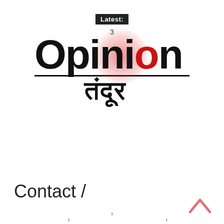Latest: 3
[Figure (logo): Opinion Tandoor logo — bold black 'Opinion' text with red 'o', red radial glow, underline, and Hindi text 'तंदूर' below]
[Figure (other): Hamburger menu button inside a red-bordered square]
Contact /
[Figure (other): Up chevron arrow icon at bottom right]